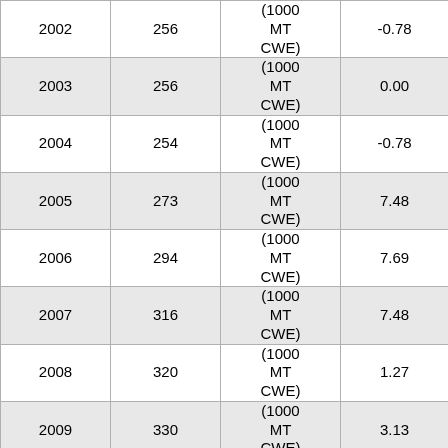| Year | Value | Unit | Change |
| --- | --- | --- | --- |
| 2002 | 256 | (1000 MT CWE) | -0.78 |
| 2003 | 256 | (1000 MT CWE) | 0.00 |
| 2004 | 254 | (1000 MT CWE) | -0.78 |
| 2005 | 273 | (1000 MT CWE) | 7.48 |
| 2006 | 294 | (1000 MT CWE) | 7.69 |
| 2007 | 316 | (1000 MT CWE) | 7.48 |
| 2008 | 320 | (1000 MT CWE) | 1.27 |
| 2009 | 330 | (1000 MT CWE) | 3.13 |
| 2010 |  | (1000 |  |